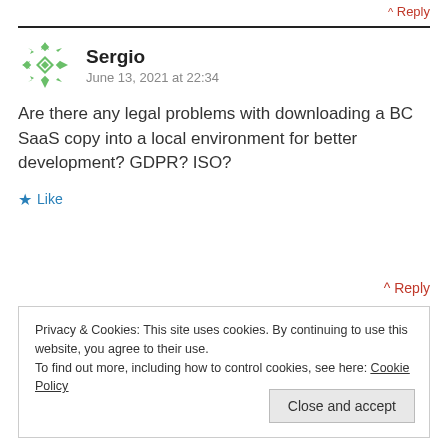^ Reply
Sergio
June 13, 2021 at 22:34
Are there any legal problems with downloading a BC SaaS copy into a local environment for better development? GDPR? ISO?
Like
^ Reply
Privacy & Cookies: This site uses cookies. By continuing to use this website, you agree to their use.
To find out more, including how to control cookies, see here: Cookie Policy
Close and accept